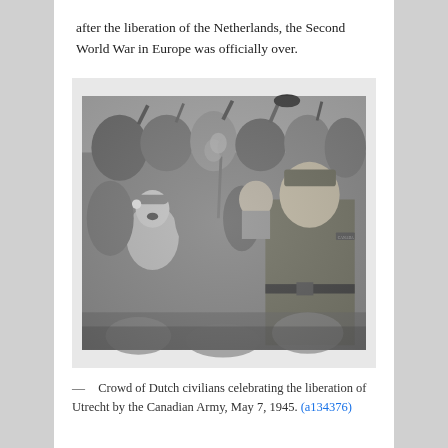after the liberation of the Netherlands, the Second World War in Europe was officially over.
[Figure (photo): Black and white photograph of a crowd of Dutch civilians celebrating liberation, with a Canadian Army soldier visible. People are cheering, raising hands, and holding flowers. Utrecht, May 7, 1945.]
— Crowd of Dutch civilians celebrating the liberation of Utrecht by the Canadian Army, May 7, 1945. (a134376)